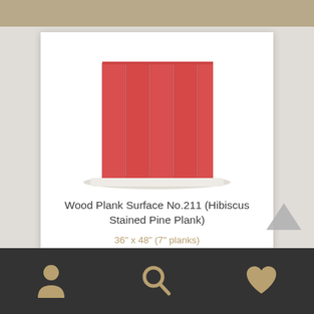[Figure (photo): Product image of Wood Plank Surface No.211 — red/hibiscus stained pine planks displayed vertically on a white shelf/base]
Wood Plank Surface No.211 (Hibiscus Stained Pine Plank)
36" x 48" (7" planks)
$240.00 / Week
SKU: NS1404
Add to Worksheet